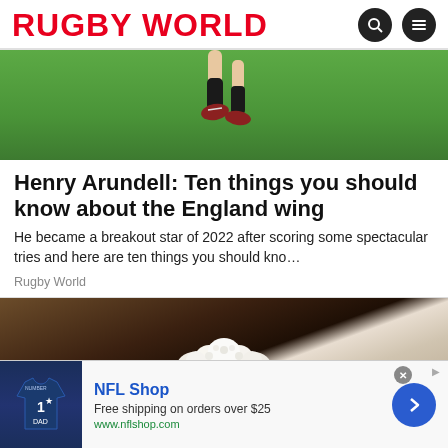RUGBY WORLD
[Figure (photo): Rugby player's legs mid-kick or jump over green grass field]
Henry Arundell: Ten things you should know about the England wing
He became a breakout star of 2022 after scoring some spectacular tries and here are ten things you should kno…
Rugby World
[Figure (photo): Cauliflower or white food item on rustic wooden surface]
[Figure (other): NFL Shop advertisement banner: Free shipping on orders over $25, www.nflshop.com]